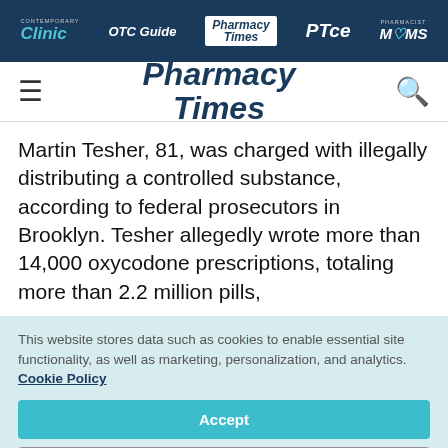Contemporary Clinic | OTC Guide | Pharmacy Times | PTce | Pharmacist Moms
[Figure (logo): Pharmacy Times logo with hamburger menu and search icon]
Martin Tesher, 81, was charged with illegally distributing a controlled substance, according to federal prosecutors in Brooklyn. Tesher allegedly wrote more than 14,000 oxycodone prescriptions, totaling more than 2.2 million pills,
This website stores data such as cookies to enable essential site functionality, as well as marketing, personalization, and analytics. Cookie Policy
Accept
Deny